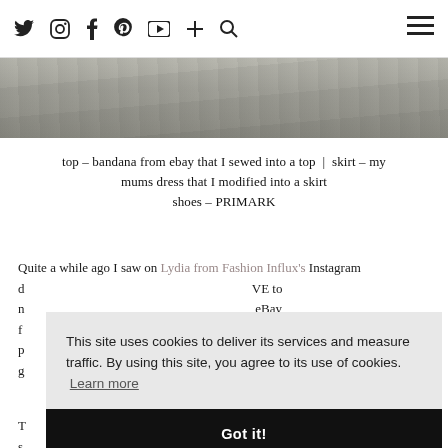Social media nav icons: twitter, instagram, facebook, pinterest, youtube, plus, search; hamburger menu
[Figure (photo): Stone or brick wall texture background, grayscale]
top – bandana from ebay that I sewed into a top | skirt – my mums dress that I modified into a skirt
shoes – PRIMARK
Quite a while ago I saw on Lydia from Fashion Influx's Instagram [partially obscured by cookie overlay] VE to [eBay] [at I'm] [nitely] [g]
[Cookie overlay: This site uses cookies to deliver its services and measure traffic. By using this site, you agree to its use of cookies. Learn more / Got it!]
[partially obscured] se its [s] [ning I] [n't fit] her anymore and that I could stick it on eBay. It was a strapless